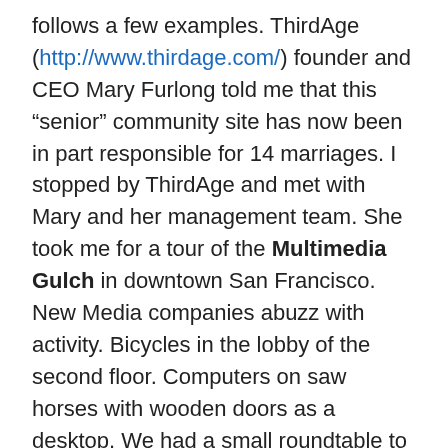follows a few examples. ThirdAge (http://www.thirdage.com/) founder and CEO Mary Furlong told me that this “senior” community site has now been in part responsible for 14 marriages. I stopped by ThirdAge and met with Mary and her management team. She took me for a tour of the Multimedia Gulch in downtown San Francisco. New Media companies abuzz with activity. Bicycles in the lobby of the second floor. Computers on saw horses with wooden doors as a desktop. We had a small roundtable to talk about the future of the Internet and new media. We also watched a video tape which profiled some “seniors” and their activities.
I recently learned about a Web site built by a group of students at Sachem High School in East Suffolk County, Long Island, New York. They learned about my Web site and sent me an email. We had a few exchanges and then